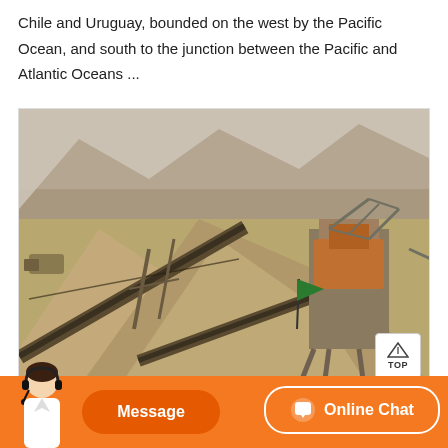Chile and Uruguay, bounded on the west by the Pacific Ocean, and south to the junction between the Pacific and Atlantic Oceans ...
[Figure (photo): Aerial view of a quarry or mining site showing conveyor belts, large piles of gravel/aggregate, industrial crushing equipment, and mountainous terrain in the background. A green flag is visible near the center.]
Message   Online Chat